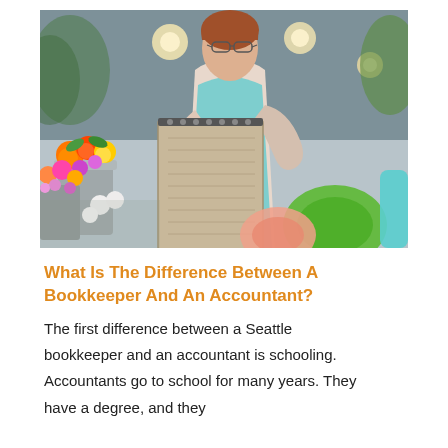[Figure (photo): A woman wearing glasses and a light teal/mint apron holds an open spiral notebook and appears to be reading it. She is standing in a flower shop surrounded by colorful flowers including orange, red, yellow and purple blooms in metal buckets. In the foreground are blurred spools of ribbon in green and peach/pink colors.]
What Is The Difference Between A Bookkeeper And An Accountant?
The first difference between a Seattle bookkeeper and an accountant is schooling. Accountants go to school for many years. They have a degree, and they